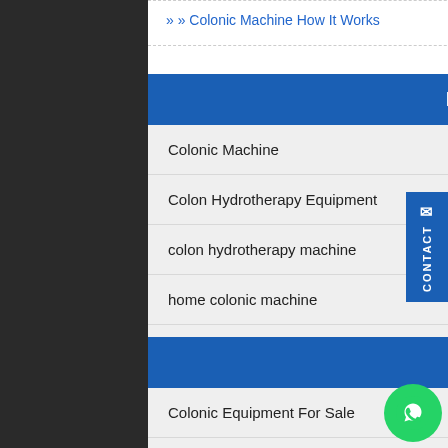» Colonic Machine How It Works
Product Categories
Colonic Machine
Colon Hydrotherapy Equipment
colon hydrotherapy machine
home colonic machine
Recent Posts
Colonic Equipment For Sale
is colon hydrotherapy safe?
Professional Colonic Irrigation Equipment
Dotolo Colonic Machine For Sale